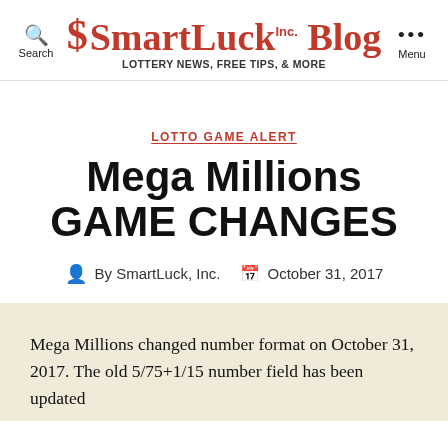SmartLuck Inc. Blog — LOTTERY NEWS, FREE TIPS, & MORE
LOTTO GAME ALERT
Mega Millions GAME CHANGES
By SmartLuck, Inc.   October 31, 2017
Mega Millions changed number format on October 31, 2017. The old 5/75+1/15 number field has been updated